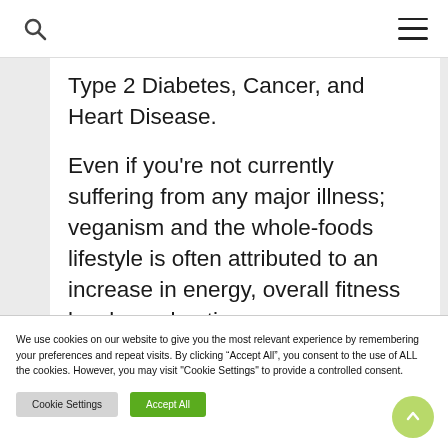Type 2 Diabetes, Cancer, and Heart Disease.
Even if you're not currently suffering from any major illness; veganism and the whole-foods lifestyle is often attributed to an increase in energy, overall fitness levels, and anti-
We use cookies on our website to give you the most relevant experience by remembering your preferences and repeat visits. By clicking "Accept All", you consent to the use of ALL the cookies. However, you may visit "Cookie Settings" to provide a controlled consent.